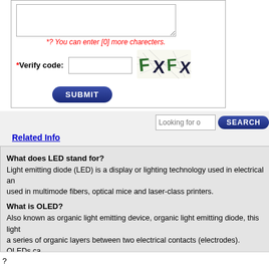*? You can enter [0] more charecters.
*Verify code:
[Figure (other): CAPTCHA image showing text FXFX in distorted green and dark letters]
SUBMIT button
Looking for o...
SEARCH button
Related Info
What does LED stand for?
Light emitting diode (LED) is a display or lighting technology used in electrical an... used in multimode fibers, optical mice and laser-class printers.
What is OLED?
Also known as organic light emitting device, organic light emitting diode, this light... a series of organic layers between two electrical contacts (electrodes). OLEDs ca... weight organic materials (SM-OLEDs) or polymer-based materials (PLEDs, LEPs...
?